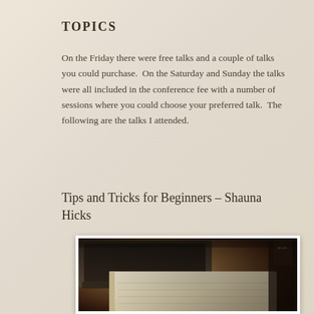TOPICS
On the Friday there were free talks and a couple of talks you could purchase.  On the Saturday and Sunday the talks were all included in the conference fee with a number of sessions where you could choose your preferred talk.  The following are the talks I attended.
Tips and Tricks for Beginners – Shauna Hicks
[Figure (photo): Photo of an open notebook/journal on a desk with a laptop computer in the background, shot in a warm, slightly dark bokeh style.]